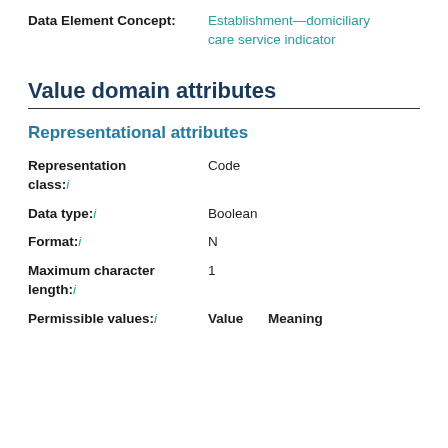Data Element Concept: Establishment—domiciliary care service indicator
Value domain attributes
Representational attributes
Representation class: i — Code
Data type: i — Boolean
Format: i — N
Maximum character length: i — 1
Permissible values: i — Value  Meaning